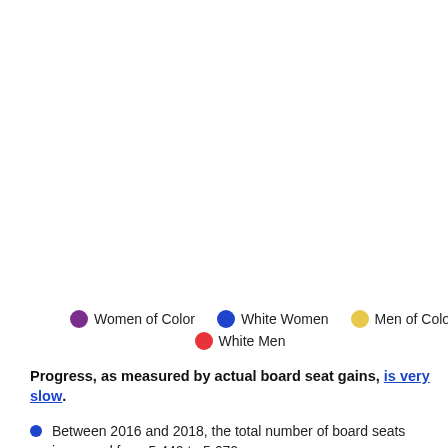[Figure (infographic): Grid of red person icons representing board seats, approximately 10 columns and 9 rows of red human figure icons on white background]
Legend: Women of Color (purple), White Women (blue), Men of Color (gold), White Men (red)
Progress, as measured by actual board seat gains, is very slow.
Between 2016 and 2018, the total number of board seats increased from 5,440 to 5,670.